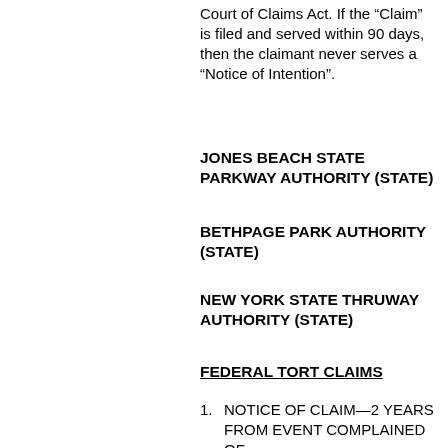Court of Claims Act. If the “Claim” is filed and served within 90 days, then the claimant never serves a “Notice of Intention”.
JONES BEACH STATE PARKWAY AUTHORITY (STATE)
BETHPAGE PARK AUTHORITY (STATE)
NEW YORK STATE THRUWAY AUTHORITY (STATE)
FEDERAL TORT CLAIMS
NOTICE OF CLAIM—2 YEARS FROM EVENT COMPLAINED OF
PERSONAL INJURY—GENERALLY—6 YEARS FROM EVENT COMPLAINED OF OR 6 MONTHS